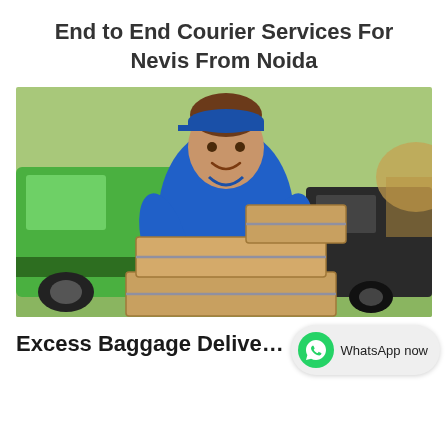End to End Courier Services For Nevis From Noida
[Figure (photo): Smiling male courier in blue uniform holding multiple cardboard boxes, standing in front of green and dark delivery vans outdoors]
Excess Baggage Delivery To Nevis From Noida